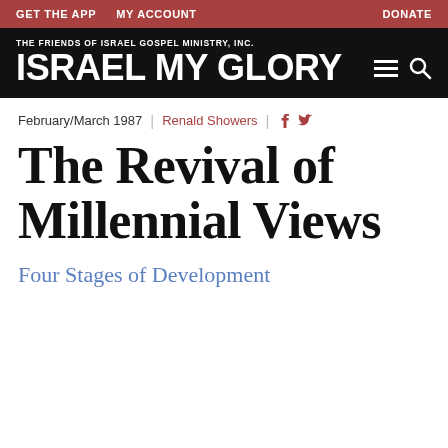GET THE APP   MY ACCOUNT   DONATE
[Figure (logo): Israel My Glory logo — The Friends of Israel Gospel Ministry, Inc. with hamburger menu and search icon on black background]
February/March 1987 | Renald Showers
The Revival of Millennial Views
Four Stages of Development